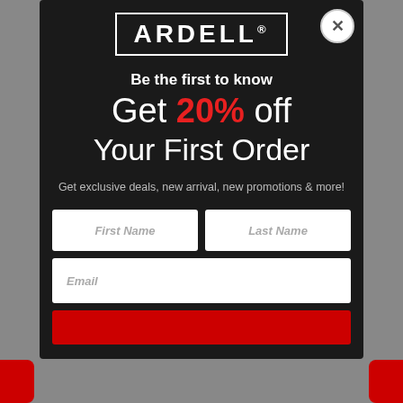[Figure (logo): Ardell brand logo in white text on dark background with border]
Be the first to know
Get 20% off Your First Order
Get exclusive deals, new arrival, new promotions & more!